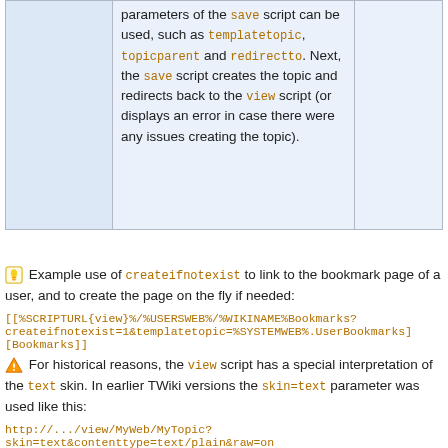|  | parameters of the save script can be used, such as templatetopic, topicparent and redirectto. Next, the save script creates the topic and redirects back to the view script (or displays an error in case there were any issues creating the topic). |  |
💡 Example use of createifnotexist to link to the bookmark page of a user, and to create the page on the fly if needed:
[[%SCRIPTURL{view}%/%USERSWEB%/%WIKINAME%Bookmarks?createifnotexist=1&amp;templatetopic=%SYSTEMWEB%.UserBookmarks][Bookmarks]]
⚠ For historical reasons, the view script has a special interpretation of the text skin. In earlier TWiki versions the skin=text parameter was used like this: http://.../view/MyWeb/MyTopic?skin=text&contenttype=text/plain&raw=on which shows the topic as plain text; useful for those who want to download plain text for the topic. Using skin=text on this page is DEPRECATED